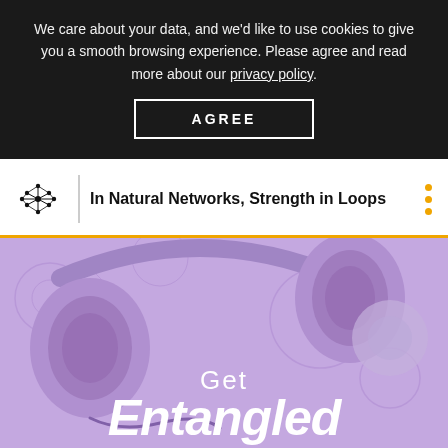We care about your data, and we'd like to use cookies to give you a smooth browsing experience. Please agree and read more about our privacy policy.
AGREE
In Natural Networks, Strength in Loops
[Figure (photo): Purple-toned photo of headphones lying flat with molecular/circular pattern overlay. Text overlay reads 'Get Entangled' in white italic font.]